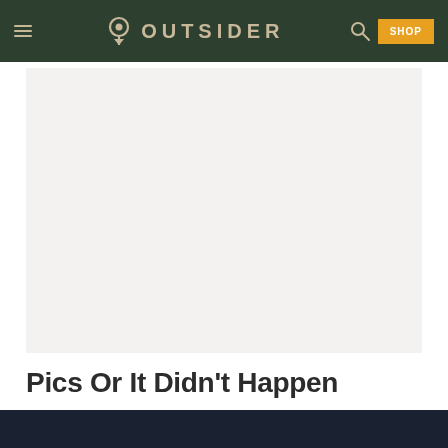OUTSIDER
[Figure (photo): Large gray placeholder image area for an article photo]
Pics Or It Didn't Happen